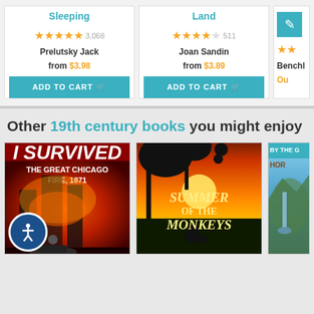[Figure (screenshot): Book listing card: Sleeping, 4.5 stars, 3,068 reviews, Prelutsky Jack, from $3.98, Add to Cart button]
[Figure (screenshot): Book listing card: Land, 3.5 stars, 511 reviews, Joan Sandin, from $3.89, Add to Cart button]
[Figure (screenshot): Partial book listing card: 2 stars shown, Benchl author partial, Out of stock partial]
Other 19th century books you might enjoy
[Figure (photo): Book cover: I Survived The Great Chicago Fire, 1871 by Lauren Tarshis (Scholastic)]
[Figure (photo): Book cover: Summer of the Monkeys by Wilson Rawls]
[Figure (photo): Partial book cover: By the Great Horn (partial title visible)]